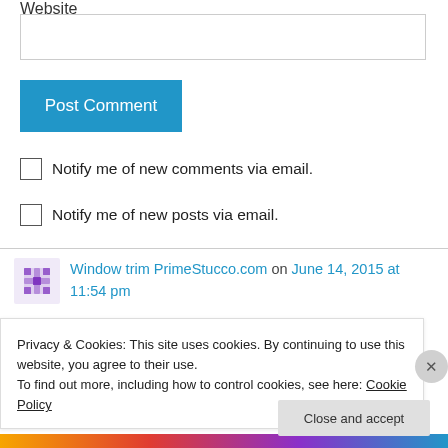Website
[Figure (other): Empty text input box for website URL]
[Figure (other): Blue Post Comment button]
Notify me of new comments via email.
Notify me of new posts via email.
[Figure (other): User avatar icon (purple geometric pattern)]
Window trim PrimeStucco.com on June 14, 2015 at 11:54 pm
Privacy & Cookies: This site uses cookies. By continuing to use this website, you agree to their use.
To find out more, including how to control cookies, see here: Cookie Policy
[Figure (other): Close and accept button for cookie banner]